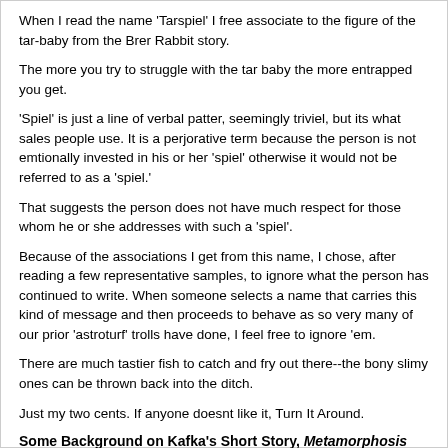When I read the name 'Tarspiel' I free associate to the figure of the tar-baby from the Brer Rabbit story.
The more you try to struggle with the tar baby the more entrapped you get.
'Spiel' is just a line of verbal patter, seemingly triviel, but its what sales people use. It is a perjorative term because the person is not emtionally invested in his or her 'spiel' otherwise it would not be referred to as a 'spiel.'
That suggests the person does not have much respect for those whom he or she addresses with such a 'spiel'.
Because of the associations I get from this name, I chose, after reading a few representative samples, to ignore what the person has continued to write. When someone selects a name that carries this kind of message and then proceeds to behave as so very many of our prior 'astroturf' trolls have done, I feel free to ignore 'em.
There are much tastier fish to catch and fry out there--the bony slimy ones can be thrown back into the ditch.
Just my two cents. If anyone doesnt like it, Turn It Around.
Some Background on Kafka's Short Story, Metamorphosis
[74.125.113.132]
Quote